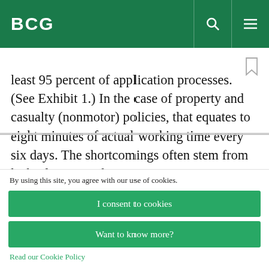BCG
least 95 percent of application processes. (See Exhibit 1.) In the case of property and casualty (nonmotor) policies, that equates to eight minutes of actual working time every six days. The shortcomings often stem from lack of scope and input. For instance, many companies elect to
By using this site, you agree with our use of cookies.
I consent to cookies
Want to know more?
Read our Cookie Policy